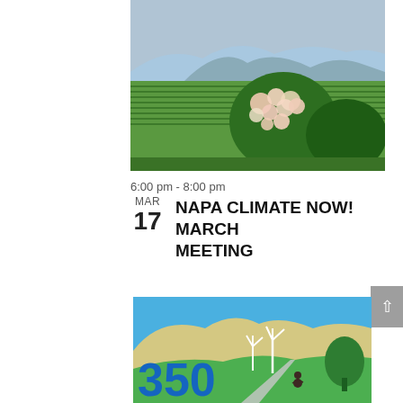[Figure (photo): Aerial landscape photo of Napa Valley vineyard with rows of grapevines, flowering roses in the foreground, and mountains in the background under a blue sky.]
6:00 pm - 8:00 pm
NAPA CLIMATE NOW! MARCH MEETING
[Figure (illustration): Colorful graphic illustration showing mountains, wind turbines, green hills, a bicyclist on a road, and the number 350 in large blue text, representing 350.org environmental organization.]